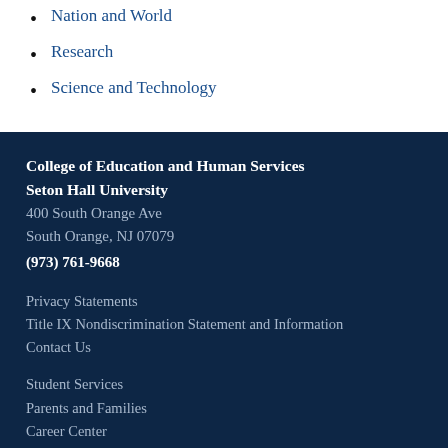Nation and World
Research
Science and Technology
College of Education and Human Services
Seton Hall University
400 South Orange Ave
South Orange, NJ 07079
(973) 761-9668
Privacy Statements
Title IX Nondiscrimination Statement and Information
Contact Us
Student Services
Parents and Families
Career Center